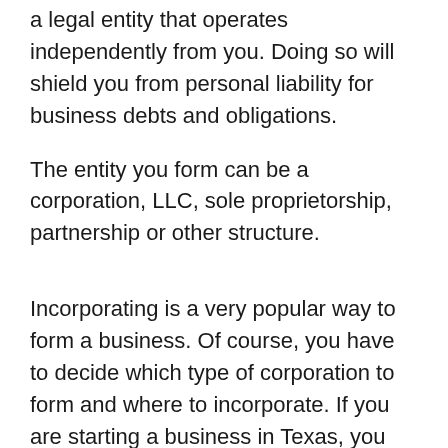a legal entity that operates independently from you. Doing so will shield you from personal liability for business debts and obligations.
The entity you form can be a corporation, LLC, sole proprietorship, partnership or other structure.
Incorporating is a very popular way to form a business. Of course, you have to decide which type of corporation to form and where to incorporate. If you are starting a business in Texas, you don't necessarily have to incorporate in Texas. In fact, you can